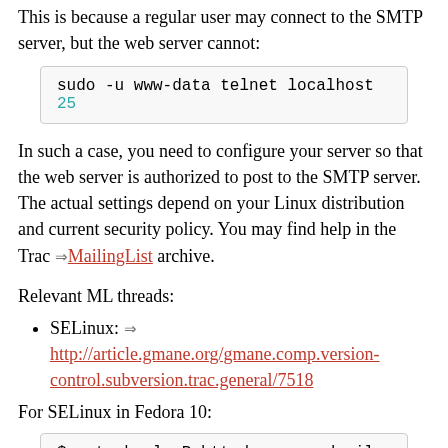This is because a regular user may connect to the SMTP server, but the web server cannot:
sudo -u www-data telnet localhost 25
In such a case, you need to configure your server so that the web server is authorized to post to the SMTP server. The actual settings depend on your Linux distribution and current security policy. You may find help in the Trac ⇒ MailingList archive.
Relevant ML threads:
SELinux: ⇒ http://article.gmane.org/gmane.comp.version-control.subversion.trac.general/7518
For SELinux in Fedora 10:
$ setsebool -P httpd_can_sendmail 1
Suspected spam error
Some SMTP servers may reject the notification email